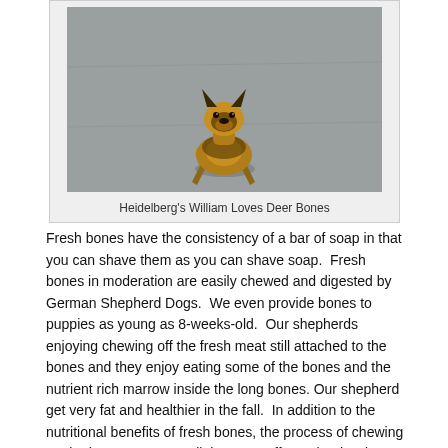[Figure (photo): A German Shepherd dog (puppy) running toward the camera on a gray surface, viewed from above]
Heidelberg's William Loves Deer Bones
Fresh bones have the consistency of a bar of soap in that you can shave them as you can shave soap.  Fresh bones in moderation are easily chewed and digested by German Shepherd Dogs.  We even provide bones to puppies as young as 8-weeks-old.  Our shepherds enjoying chewing off the fresh meat still attached to the bones and they enjoy eating some of the bones and the nutrient rich marrow inside the long bones. Our shepherd get very fat and healthier in the fall.  In addition to the nutritional benefits of fresh bones, the process of chewing on the bones removes all the tarter off our shepherds'